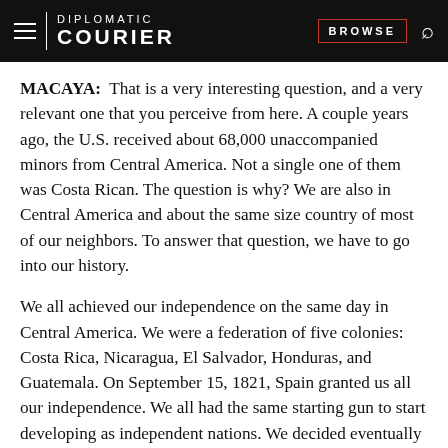DIPLOMATIC COURIER  BROWSE
MACAYA: That is a very interesting question, and a very relevant one that you perceive from here. A couple years ago, the U.S. received about 68,000 unaccompanied minors from Central America. Not a single one of them was Costa Rican. The question is why? We are also in Central America and about the same size country of most of our neighbors. To answer that question, we have to go into our history.
We all achieved our independence on the same day in Central America. We were a federation of five colonies: Costa Rica, Nicaragua, El Salvador, Honduras, and Guatemala. On September 15, 1821, Spain granted us all our independence. We all had the same starting gun to start developing as independent nations. We decided eventually to go our own ways, because we could have